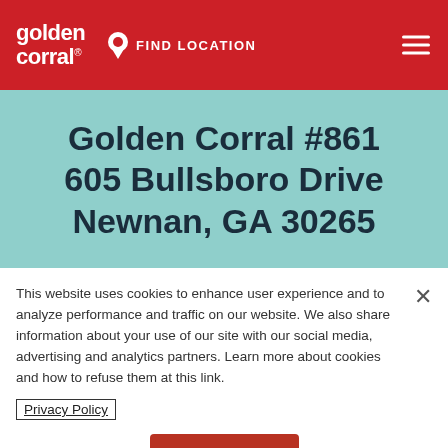golden corral® FIND LOCATION
Golden Corral #861 605 Bullsboro Drive Newnan, GA 30265
This website uses cookies to enhance user experience and to analyze performance and traffic on our website. We also share information about your use of our site with our social media, advertising and analytics partners. Learn more about cookies and how to refuse them at this link. Privacy Policy
OK